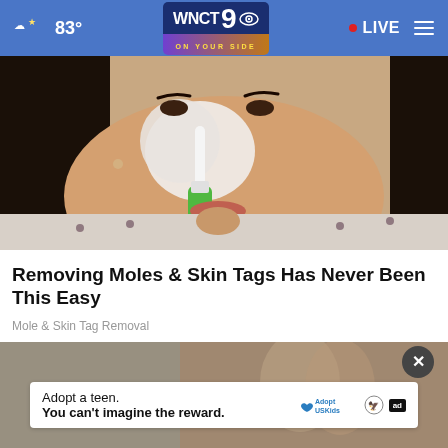83° WNCT 9 ON YOUR SIDE · LIVE
[Figure (photo): Woman applying white cream/paste on her nose and face using a green toothbrush]
Removing Moles & Skin Tags Has Never Been This Easy
Mole & Skin Tag Removal
[Figure (photo): Background photo partially visible behind advertisement overlay]
Adopt a teen. You can't imagine the reward.